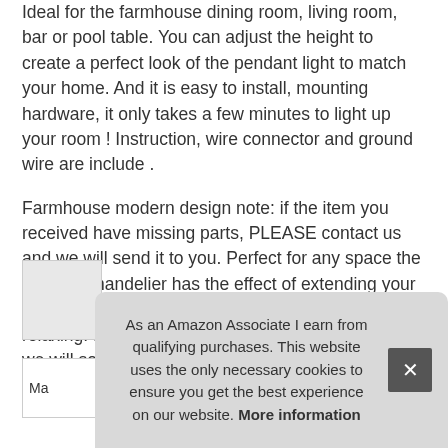Ideal for the farmhouse dining room, living room, bar or pool table. You can adjust the height to create a perfect look of the pendant light to match your home. And it is easy to install, mounting hardware, it only takes a few minutes to light up your room ! Instruction, wire connector and ground wire are include .
Farmhouse modern design note: if the item you received have missing parts, PLEASE contact us and we will send it to you. Perfect for any space the modern chandelier has the effect of extending your space, kitchen, making your kitchen look open and relaxing. If you find any damaged or missing parts, we will solve it as soon as possible. We offer 12 months guarantee.
As an Amazon Associate I earn from qualifying purchases. This website uses the only necessary cookies to ensure you get the best experience on our website. More information